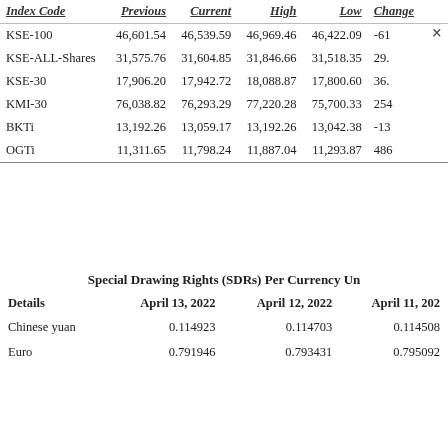| Index Code | Previous | Current | High | Low | Change |
| --- | --- | --- | --- | --- | --- |
| KSE-100 | 46,601.54 | 46,539.59 | 46,969.46 | 46,422.09 | -61... |
| KSE-ALL-Shares | 31,575.76 | 31,604.85 | 31,846.66 | 31,518.35 | 29.... |
| KSE-30 | 17,906.20 | 17,942.72 | 18,088.87 | 17,800.60 | 36.... |
| KMI-30 | 76,038.82 | 76,293.29 | 77,220.28 | 75,700.33 | 254... |
| BKTi | 13,192.26 | 13,059.17 | 13,192.26 | 13,042.38 | -13... |
| OGTi | 11,311.65 | 11,798.24 | 11,887.04 | 11,293.87 | 486... |
Special Drawing Rights (SDRs) Per Currency Un...
| Details | April 13, 2022 | April 12, 2022 | April 11, 2022 |
| --- | --- | --- | --- |
| Chinese yuan | 0.114923 | 0.114703 | 0.114508 |
| Euro | 0.791946 | 0.793431 | 0.795092 |